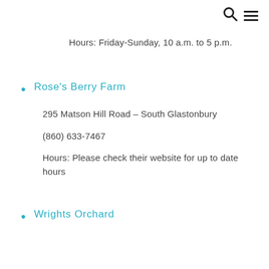Hours: Friday-Sunday, 10 a.m. to 5 p.m.
Rose's Berry Farm
295 Matson Hill Road – South Glastonbury
(860) 633-7467
Hours: Please check their website for up to date hours
Wrights Orchard